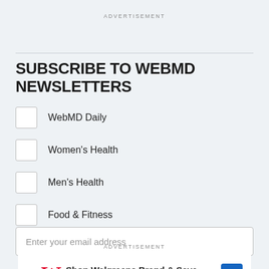ADVERTISEMENT
SUBSCRIBE TO WEBMD NEWSLETTERS
WebMD Daily
Women's Health
Men's Health
Food & Fitness
Enter your email address
ADVERTISEMENT
[Figure (other): Walgreens advertisement banner: Shop Walgreens Brand & Save, Walgreens Photo]